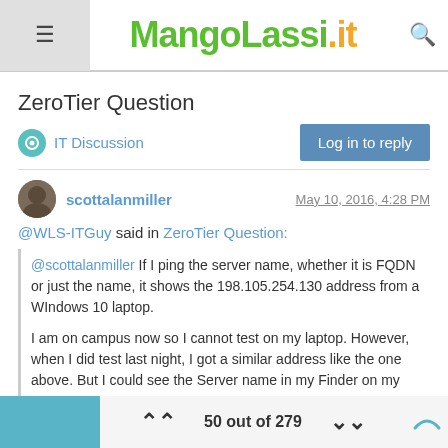MangoLassi.it
ZeroTier Question
IT Discussion
Log in to reply
scottalanmiller  May 10, 2016, 4:28 PM
@WLS-ITGuy said in ZeroTier Question:
@scottalanmiller If I ping the server name, whether it is FQDN or just the name, it shows the 198.105.254.130 address from a WIndows 10 laptop.
I am on campus now so I cannot test on my laptop. However, when I did test last night, I got a similar address like the one above. But I could see the Server name in my Finder on my mac.
50 out of 279